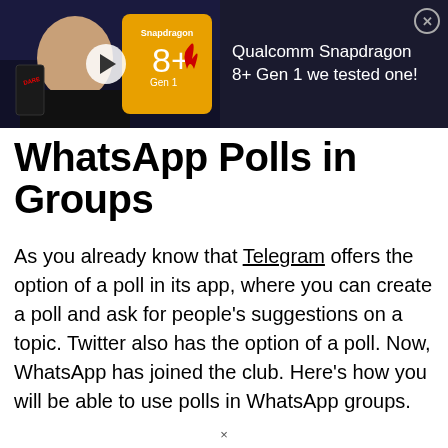[Figure (screenshot): Video advertisement banner for Qualcomm Snapdragon 8+ Gen 1 review. Left side shows a dark background with a bald bearded man holding a phone, a play button overlay, and the Snapdragon 8+ Gen 1 chip logo. Right side shows white text on dark background reading 'Qualcomm Snapdragon 8+ Gen 1 we tested one!' with a close (X) button in the top right corner.]
WhatsApp Polls in Groups
As you already know that Telegram offers the option of a poll in its app, where you can create a poll and ask for people's suggestions on a topic. Twitter also has the option of a poll. Now, WhatsApp has joined the club. Here's how you will be able to use polls in WhatsApp groups.
×